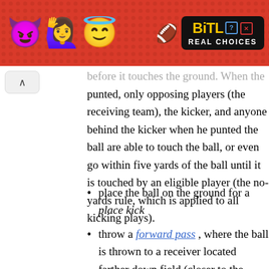[Figure (other): BitLife advertisement banner with emoji characters (devil, person, angel) on a red polka-dot background, and BitLife logo with 'REAL CHOICES' text on black background]
before it touches the ground. When the ball is punted, only opposing players (the receiving team), the kicker, and anyone behind the kicker when he punted the ball are able to touch the ball, or even go within five yards of the ball until it is touched by an eligible player (the no-yards rule, which is applied to all kicking plays).
place the ball on the ground for a place kick
throw a forward pass , where the ball is thrown to a receiver located farther down field (closer to the opponent's goal) than the thrower is.